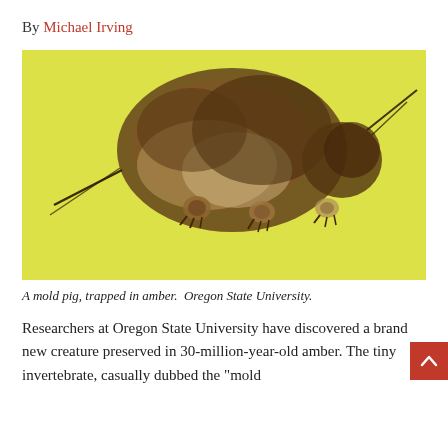By Michael Irving
[Figure (photo): A mold pig preserved in amber, shown against a yellow/chartreuse background. The tiny invertebrate is viewed from the side, showing its plump segmented body, multiple legs with claws, and bristle-like appendages.]
A mold pig, trapped in amber.  Oregon State University.
Researchers at Oregon State University have discovered a brand new creature preserved in 30-million-year-old amber. The tiny invertebrate, casually dubbed the "mold